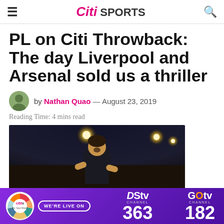Citi SPORTS
PL on Citi Throwback: The day Liverpool and Arsenal sold us a thriller
by Nathan Quao — August 23, 2019
Reading Time: 4 mins read
[Figure (photo): A footballer with mouth open in celebration or shock, dark stadium background with bright floodlights]
[Figure (infographic): Ad banner: Citi TV logo, WE'RE LIVE ON, DStv Channel 363, GOtv Channel 182]